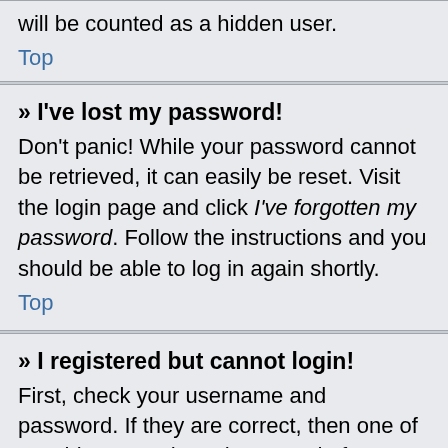will be counted as a hidden user.
Top
» I've lost my password!
Don't panic! While your password cannot be retrieved, it can easily be reset. Visit the login page and click I've forgotten my password. Follow the instructions and you should be able to log in again shortly.
Top
» I registered but cannot login!
First, check your username and password. If they are correct, then one of two things may have happened. If COPPA support is enabled and you specified being under 13 years old during registration, you will have to follow the